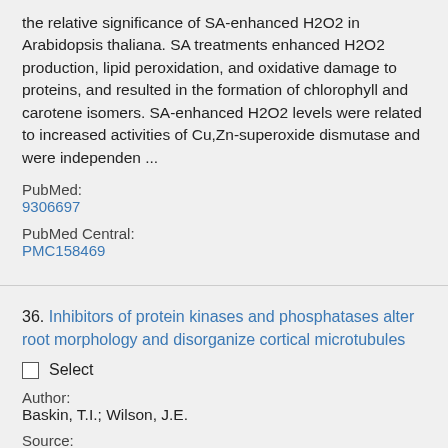the relative significance of SA-enhanced H2O2 in Arabidopsis thaliana. SA treatments enhanced H2O2 production, lipid peroxidation, and oxidative damage to proteins, and resulted in the formation of chlorophyll and carotene isomers. SA-enhanced H2O2 levels were related to increased activities of Cu,Zn-superoxide dismutase and were independen ...
PubMed: 9306697
PubMed Central: PMC158469
36. Inhibitors of protein kinases and phosphatases alter root morphology and disorganize cortical microtubules
Select
Author: Baskin, T.I.; Wilson, J.E.
Source: